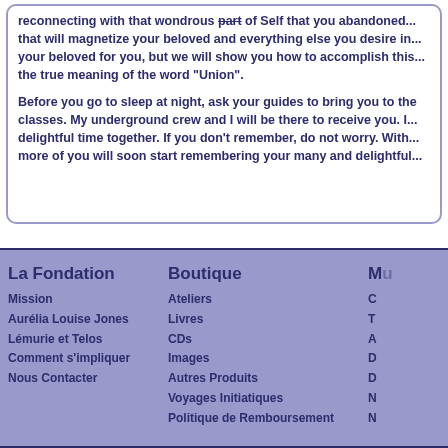reconnecting with that wondrous part of Self that you abandoned... that will magnetize your beloved and everything else you desire in... your beloved for you, but we will show you how to accomplish this... the true meaning of the word "Union". Before you go to sleep at night, ask your guides to bring you to the classes. My underground crew and I will be there to receive you. I... delightful time together. If you don't remember, do not worry. With... more of you will soon start remembering your many and delightful...
La Fondation
Mission
Aurélia Louise Jones
Lémurie et Telos
Comment s'impliquer
Nous Contacter
Boutique
Ateliers
Livres
CDs
Images
Autres Produits
Voyages Initiatiques
Politique de Remboursement
M...